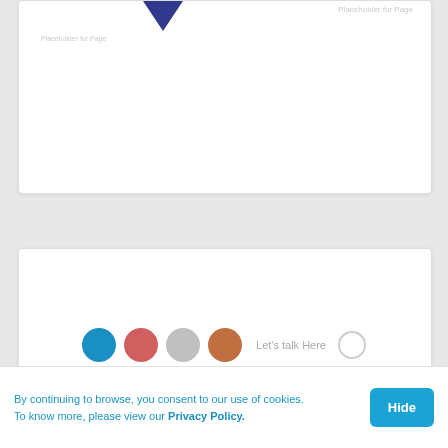[Figure (screenshot): Top card area showing a navigation arrow (dark blue downward-pointing triangle) and partially visible text, within a white rounded card.]
[Figure (screenshot): Bottom card area — a white rounded card with empty content, partially visible below the gap.]
By continuing to browse, you consent to our use of cookies. To know more, please view our Privacy Policy.
Hide